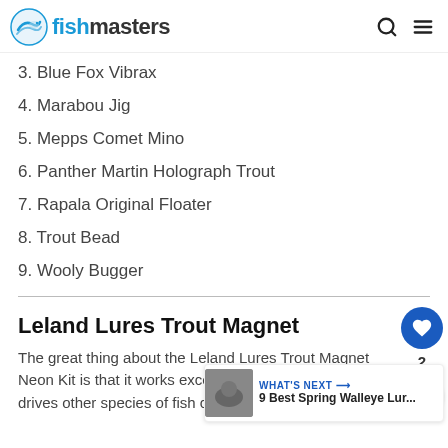fishmasters
3. Blue Fox Vibrax
4. Marabou Jig
5. Mepps Comet Mino
6. Panther Martin Holograph Trout
7. Rapala Original Floater
8. Trout Bead
9. Wooly Bugger
Leland Lures Trout Magnet
The great thing about the Leland Lures Trout Magnet Neon Kit is that it works exceptionally well on trout and drives other species of fish crazy.
[Figure (photo): Product image of lure kit at bottom of page]